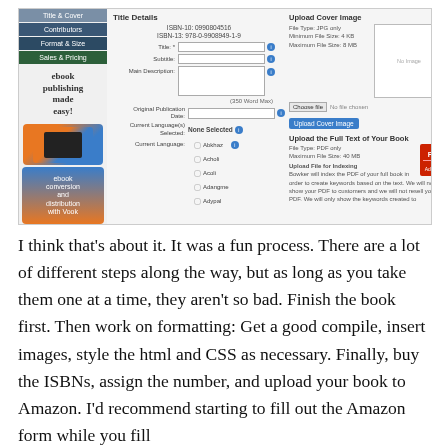[Figure (screenshot): Screenshot of an ebook publishing platform (Vook) showing a book title entry form with fields for Title, Subtitle, Main Description, Original Publication Date, Current Language(s), and Current Language checkboxes (Abkhaz, Acholi, Acoli, Adangme, Adypal). Right side shows Upload Cover Image panel with file type info (JPG only, min 4KB, max 8MB) and a placeholder image box, Choose file / No file chosen button, Upload Cover Image button, and Upload the Full Text of Your Book section with PDF file info and upload instructions. Left sidebar shows navigation tabs: Title & Cover, Contributors, Format & Size, Sales & Pricing, and ebook publishing made easy / ebook conversion and distribution with Vook branding.]
I think that’s about it. It was a fun process. There are a lot of different steps along the way, but as long as you take them one at a time, they aren’t so bad. Finish the book first. Then work on formatting: Get a good compile, insert images, style the html and CSS as necessary. Finally, buy the ISBNs, assign the number, and upload your book to Amazon. I’d recommend starting to fill out the Amazon form while you fill